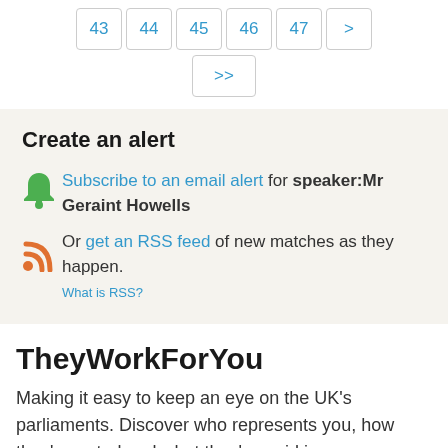43 44 45 46 47 > >>
Create an alert
Subscribe to an email alert for speaker:Mr Geraint Howells
Or get an RSS feed of new matches as they happen. What is RSS?
TheyWorkForYou
Making it easy to keep an eye on the UK's parliaments. Discover who represents you, how they've voted and what they've said in